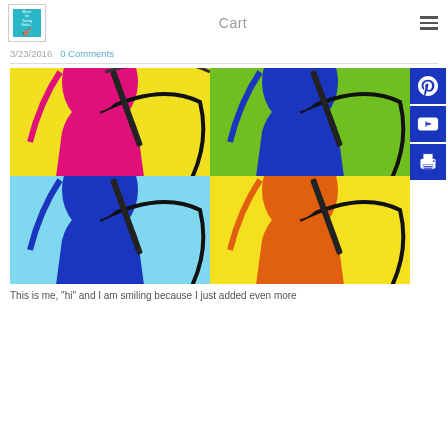Cart
3/23/2016   0 Comments
[Figure (photo): A 2x2 pop-art style grid of the same person playing violin, rendered in four color schemes: yellow/magenta, green/blue, light blue/blue, and yellow/orange.]
This is me, "hi" and I am smiling because I just added even more